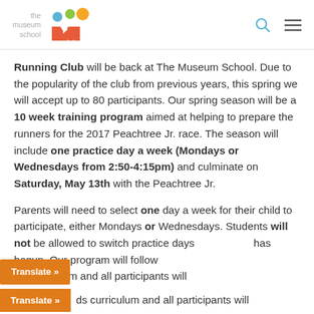the museum school
Running Club will be back at The Museum School. Due to the popularity of the club from previous years, this spring we will accept up to 80 participants. Our spring season will be a 10 week training program aimed at helping to prepare the runners for the 2017 Peachtree Jr. race. The season will include one practice day a week (Mondays or Wednesdays from 2:50-4:15pm) and culminate on Saturday, May 13th with the Peachtree Jr.
Parents will need to select one day a week for their child to participate, either Mondays or Wednesdays. Students will not be allowed to switch practice days once the season has begun. Our program will follow the standards curriculum and all participants will